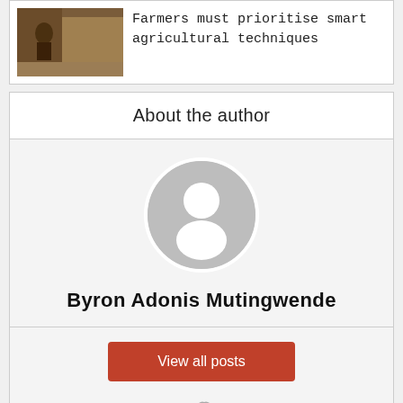[Figure (photo): A farmer working in a field, partial view at top of card]
Farmers must prioritise smart agricultural techniques
About the author
[Figure (illustration): Default grey avatar/profile placeholder circle with white silhouette of a person]
Byron Adonis Mutingwende
View all posts
[Figure (other): Link/chain icon symbol]
[Figure (other): Back to top arrow button in dark grey, bottom right corner]